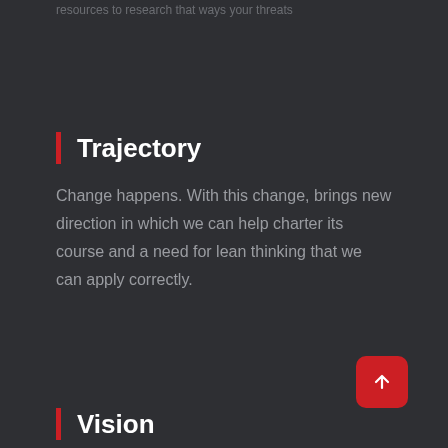resources to research that ways your threats
Trajectory
Change happens. With this change, brings new direction in which we can help charter its course and a need for lean thinking that we can apply correctly.
Vision